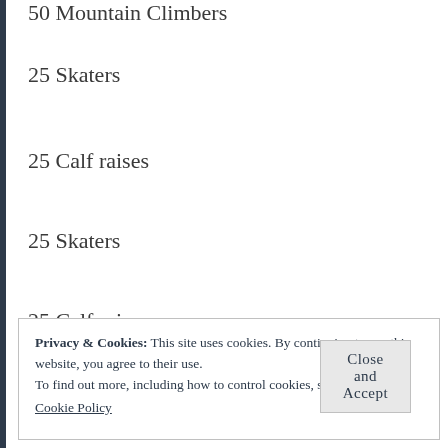50 Mountain Climbers
25 Skaters
25 Calf raises
25 Skaters
25 Calf raises
Run
Privacy & Cookies: This site uses cookies. By continuing to use this website, you agree to their use.
To find out more, including how to control cookies, see here:
Cookie Policy
Close and Accept